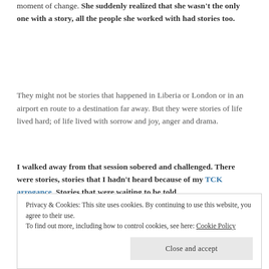moment of change. She suddenly realized that she wasn't the only one with a story, all the people she worked with had stories too.
They might not be stories that happened in Liberia or London or in an airport en route to a destination far away. But they were stories of life lived hard; of life lived with sorrow and joy, anger and drama.
I walked away from that session sobered and challenged. There were stories, stories that I hadn't heard because of my TCK arrogance. Stories that were waiting to be told.
Privacy & Cookies: This site uses cookies. By continuing to use this website, you agree to their use.
To find out more, including how to control cookies, see here: Cookie Policy
Close and accept